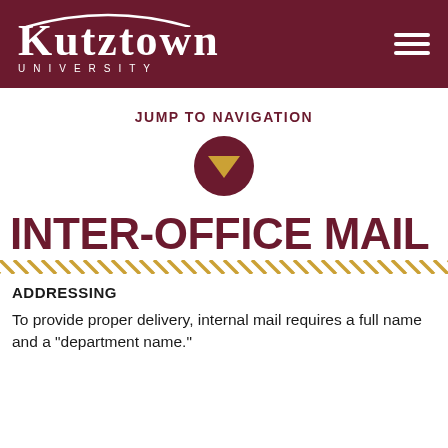Kutztown University
JUMP TO NAVIGATION
[Figure (other): Dark maroon circle with a downward-pointing gold/yellow triangle arrow in the center, used as a navigation dropdown button]
INTER-OFFICE MAIL
ADDRESSING
To provide proper delivery, internal mail requires a full name and a "department name."